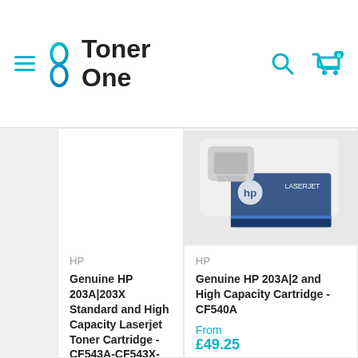[Figure (logo): Toner One logo with teal infinity/8 icon and dark text]
HP
Genuine HP 203A|203X Standard and High Capacity Laserjet Toner Cartridge -CF543A-CF543X-Mag
From £60.98
In stock, 6 units
[Figure (photo): HP LaserJet toner cartridge product box photo]
HP
Genuine HP 203A|2 and High Capacity Cartridge -CF540A
From £49.25
Only 1 unit left